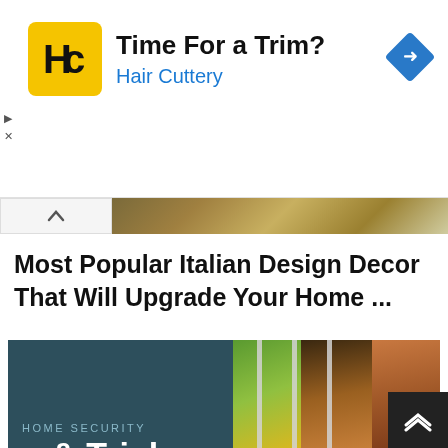[Figure (screenshot): Hair Cuttery advertisement banner with yellow HC logo, text 'Time For a Trim?' and 'Hair Cuttery' in blue, and a blue diamond navigation arrow icon on the right.]
[Figure (photo): Partial image strip showing outdoor scene at top of article.]
Most Popular Italian Design Decor That Will Upgrade Your Home ...
[Figure (photo): Composite image showing home security tips book cover on dark teal background with text 'HOME SECURITY', 's & Tricks', 'BURGLAR-PROOF', 'YOUR HOME', and right side showing a dog behind metal bars with green foliage background.]
32 Adorable Diy Home Protection Tips Trick